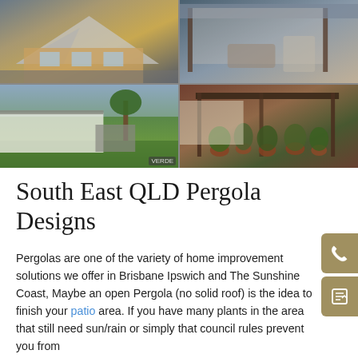[Figure (photo): 2x2 grid of four pergola/patio photos: top-left is a 3D render of a gable-roof pergola attached to a brick house; top-right is an enclosed patio/verandah with outdoor furniture; bottom-left is a wide carport/pergola attached to a rural home with garden; bottom-right is a freestanding pergola with potted plants and garden.]
South East QLD Pergola Designs
Pergolas are one of the variety of home improvement solutions we offer in Brisbane Ipswich and The Sunshine Coast, Maybe an open Pergola (no solid roof) is the idea to finish your patio area. If you have many plants in the area that still need sun/rain or simply that council rules prevent you from